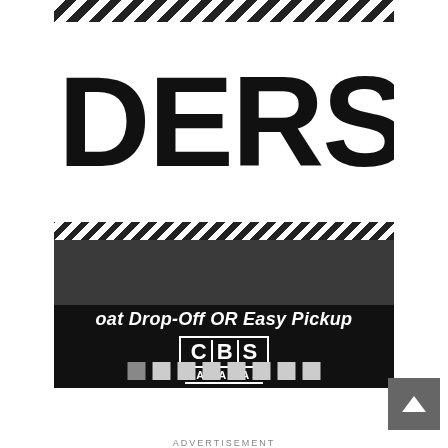[Figure (photo): Black and white advertisement photo showing partial text 'DERS S' in large bold letters on white background at top, 'bsbahamas.co' website URL in white on dark background in middle section, physical box/shelf in grayscale, and bottom black bar with italic white text 'oat Drop-Off OR Easy Pickup' and CBS BAHAMAS logo in white box outline.]
[Figure (other): Navigation dots pagination indicator — 8 square dots, first one filled dark gray, rest outlined in light gray.]
[Figure (other): Back to top button — dark gray square with white upward-pointing arrow.]
ADVERTISEMENT